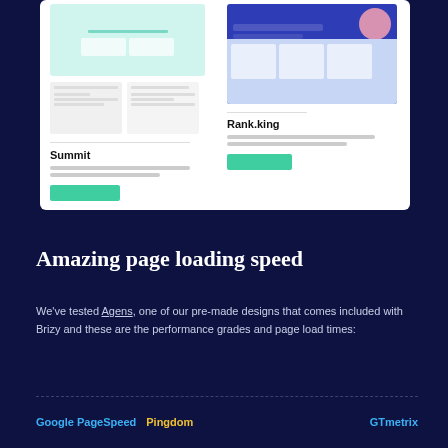[Figure (screenshot): White card showing two website template previews: 'Summit' on the left with a teal/green screenshot and 'Rank.king' on the right with a dark blue screenshot, each with description placeholder lines and a teal button.]
Amazing page loading speed
We've tested Agens, one of our pre-made designs that comes included with Brizy and these are the performance grades and page load times:
Google PageSpeed  Pingdom                          GTmetrix